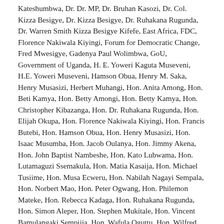Kateshumbwa, Dr. Dr. MP, Dr. Bruhan Kasozi, Dr. Col. Kizza Besigye, Dr. Kizza Besigye, Dr. Ruhakana Rugunda, Dr. Warren Smith Kizza Besigye Kifefe, East Africa, FDC, Florence Nakiwala Kiyingi, Forum for Democratic Change, Fred Mwesigye, Gadenya Paul Wolimbwa, GoU, Government of Uganda, H. E. Yoweri Kaguta Museveni, H.E. Yoweri Museveni, Hamson Obua, Henry M. Saka, Henry Musasizi, Herbert Muhangi, Hon. Anita Among, Hon. Beti Kamya, Hon. Betty Amongi, Hon. Betty Kamya, Hon. Christopher Kibazanga, Hon. Dr. Ruhakana Rugunda, Hon. Elijah Okupa, Hon. Florence Nakiwala Kiyingi, Hon. Francis Butebi, Hon. Hamson Obua, Hon. Henry Musasizi, Hon. Isaac Musumba, Hon. Jacob Oulanya, Hon. Jimmy Akena, Hon. John Baptist Nambeshe, Hon. Kato Lubwama, Hon. Lutamaguzi Ssemakula, Hon. Matia Kasaija, Hon. Michael Tusiime, Hon. Musa Ecweru, Hon. Nabilah Nagayi Sempala, Hon. Norbert Mao, Hon. Peter Ogwang, Hon. Philemon Mateke, Hon. Rebecca Kadaga, Hon. Ruhakana Rugunda, Hon. Simon Aleper, Hon. Stephen Mukitale, Hon. Vincent Bamulangaki Sempijja, Hon. Wafula Oguttu, Hon. Wilfred Niwagaba, Hon.Muhammad Nsereko,